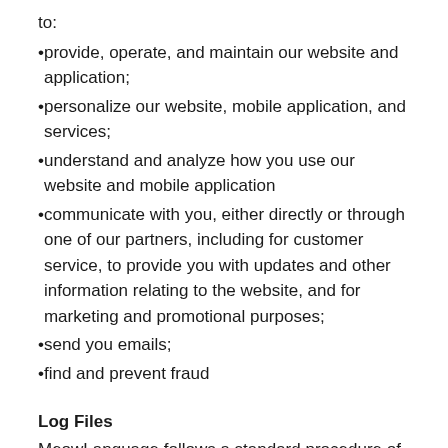to:
provide, operate, and maintain our website and application;
personalize our website, mobile application, and services;
understand and analyze how you use our website and mobile application
communicate with you, either directly or through one of our partners, including for customer service, to provide you with updates and other information relating to the website, and for marketing and promotional purposes;
send you emails;
find and prevent fraud
Log Files
MeowLanguage follows a standard procedure of using log files. These files log visitors when they visit the website and mobile application. All hosting companies do this and a part of hosting services' analytics. The information collected